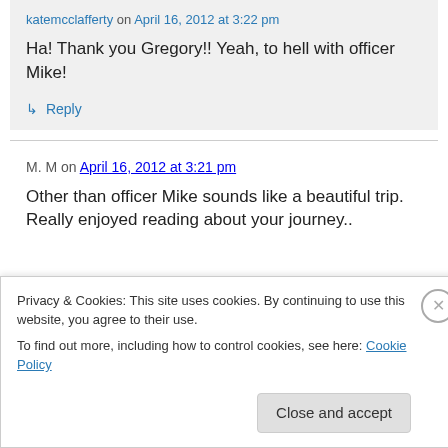katemcclafferty on April 16, 2012 at 3:22 pm
Ha! Thank you Gregory!! Yeah, to hell with officer Mike!
↳ Reply
M. M on April 16, 2012 at 3:21 pm
Other than officer Mike sounds like a beautiful trip. Really enjoyed reading about your journey..
Privacy & Cookies: This site uses cookies. By continuing to use this website, you agree to their use.
To find out more, including how to control cookies, see here: Cookie Policy
Close and accept